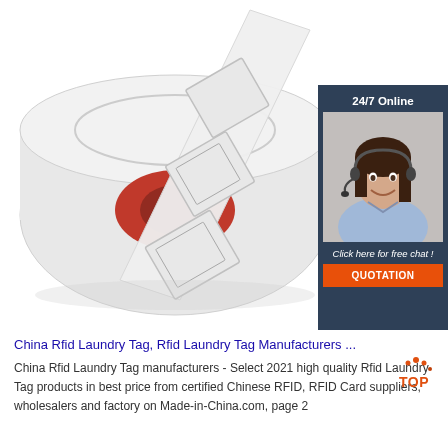[Figure (photo): A roll of white RFID laundry tags unrolling with individual square tags visible, on a white background]
[Figure (infographic): 24/7 online chat widget with a smiling woman wearing a headset, dark blue background, with 'Click here for free chat!' text and an orange QUOTATION button]
China Rfid Laundry Tag, Rfid Laundry Tag Manufacturers ...
China Rfid Laundry Tag manufacturers - Select 2021 high quality Rfid Laundry Tag products in best price from certified Chinese RFID, RFID Card suppliers, wholesalers and factory on Made-in-China.com, page 2
[Figure (logo): TOP badge logo with orange and red dots]